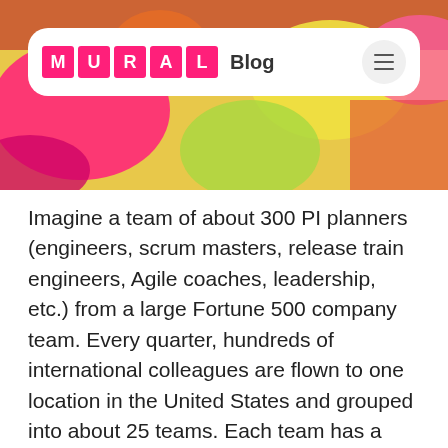[Figure (photo): Colorful sticky notes in the background behind the navigation bar]
MURAL Blog
Imagine a team of about 300 PI planners (engineers, scrum masters, release train engineers, Agile coaches, leadership, etc.) from a large Fortune 500 company team. Every quarter, hundreds of international colleagues are flown to one location in the United States and grouped into about 25 teams. Each team has a scrum master and their own PI planning board. The scrum master leads the team to discuss the priorities for the quarter (or given timeframe), the effort required to achieve objectives and any dependencies between working groups, using their planning board as a visual.